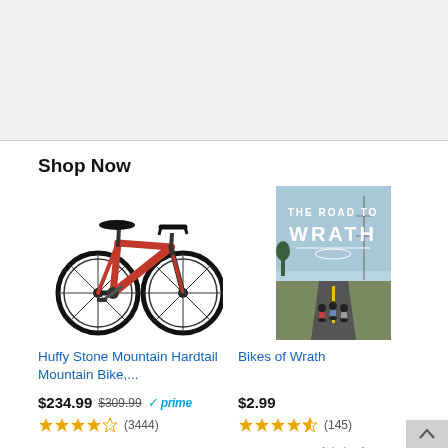Shop Now
[Figure (photo): Red Huffy Stone Mountain Hardtail Mountain Bike product photo on white background]
Huffy Stone Mountain Hardtail Mountain Bike,...
$234.99 $309.99 prime
★★★★☆ (3444)
[Figure (photo): Bikes of Wrath movie poster with riders on a road under a light blue sky]
Bikes of Wrath
$2.99
★★★★½ (145)
Ads by Amazon